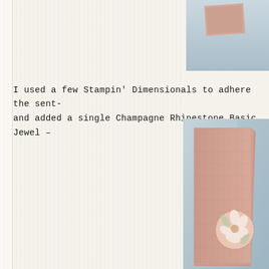[Figure (photo): Partial photo at top right showing a greeting card on a light blue background]
I used a few Stampin' Dimensionals to adhere the sent- and added a single Champagne Rhinestone Basic Jewel –
[Figure (photo): Main photo showing a peach/blush greeting card with embossed floral texture and a circular die-cut window revealing a floral image, photographed on a light blue-grey background]